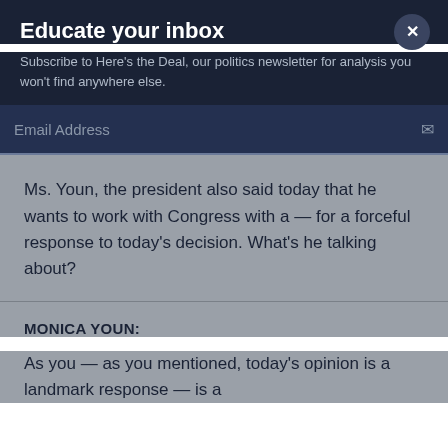Educate your inbox
Subscribe to Here's the Deal, our politics newsletter for analysis you won't find anywhere else.
Email Address
Ms. Youn, the president also said today that he wants to work with Congress with a — for a forceful response to today's decision. What's he talking about?
MONICA YOUN:
As you — as you mentioned, today's opinion is a landmark response — is a